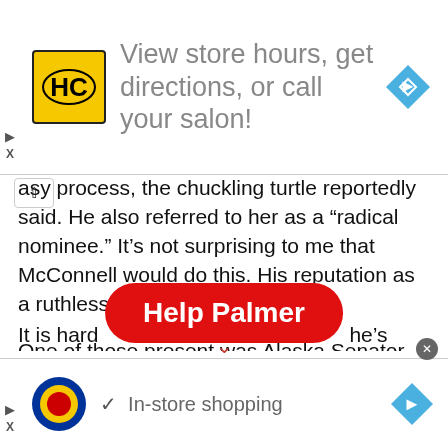[Figure (screenshot): Top advertisement banner: HC (Hair Club) logo on yellow/black square, text 'View store hours, get directions, or call your salon!' in gray, blue diamond arrow icon on right]
asy process, the chuckling turtle reportedly said. He also referred to her as a “radical nominee.” It’s not surprising to me that McConnell would do this. His reputation as a ruthless negotiator is at stake.

One of those present was Alaska Senator Lisa Murkowski, who reportedly did not contribute much to the dialogue.

It is hard... he’s
[Figure (screenshot): Red oval 'Help Palmer' button overlay with down caret]
[Figure (screenshot): Bottom advertisement banner: Lidl logo, checkmark, 'In-store shopping' text in gray, blue diamond arrow icon on right, close X button]